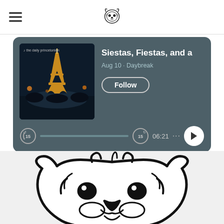[Figure (screenshot): Navigation bar with hamburger menu icon on left and Daily Princetonian tiger logo in center]
[Figure (screenshot): Spotify-style podcast player card with dark teal background showing Eiffel Tower thumbnail image on left, episode title 'Siestas, Fiestas, and a', date 'Aug 10 · Daybreak', Follow button, and playback controls showing 06:21 timestamp]
[Figure (illustration): Large black and white line drawing of the Daily Princetonian tiger mascot, showing just the head and face with characteristic markings]